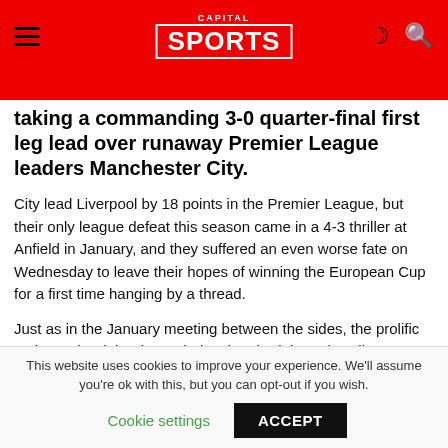CAPITAL SPORTS
taking a commanding 3-0 quarter-final first leg lead over runaway Premier League leaders Manchester City.
City lead Liverpool by 18 points in the Premier League, but their only league defeat this season came in a 4-3 thriller at Anfield in January, and they suffered an even worse fate on Wednesday to leave their hopes of winning the European Cup for a first time hanging by a thread.
Just as in the January meeting between the sides, the prolific Mohamed Salah, Alex Oxlade-Chamberlain and Sadio Mane were on target for the hosts.
This website uses cookies to improve your experience. We'll assume you're ok with this, but you can opt-out if you wish.
Cookie settings   ACCEPT